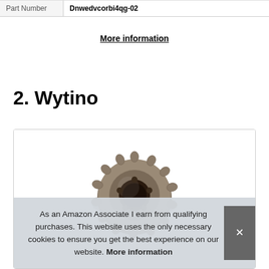| Part Number | Dnwedvcorbi4qg-02 |
| --- | --- |
More information
2. Wytino
[Figure (photo): A metallic sprocket/gear (bicycle or mechanical component), photographed on white background]
As an Amazon Associate I earn from qualifying purchases. This website uses the only necessary cookies to ensure you get the best experience on our website. More information